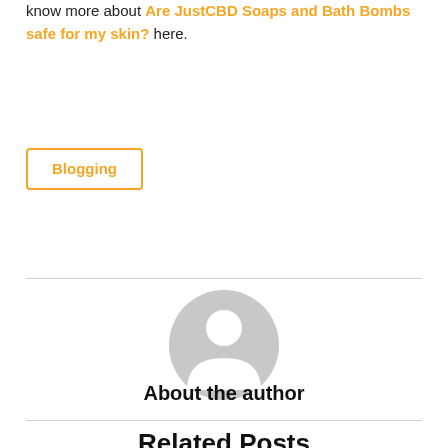know more about Are JustCBD Soaps and Bath Bombs safe for my skin? here.
Blogging
[Figure (illustration): Generic grey user avatar icon — circular head and shoulders silhouette]
About the author
Related Posts